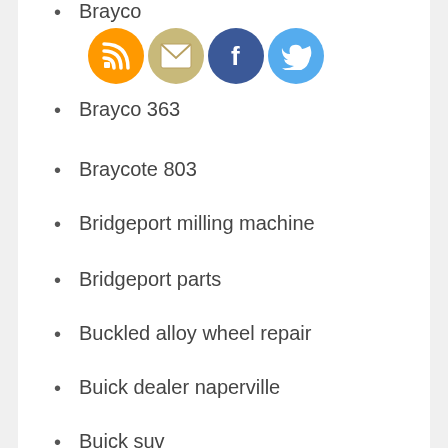Brayco
[Figure (illustration): Four social media icon circles: RSS (orange), Email (tan/gold), Facebook (blue), Twitter (light blue)]
Brayco 363
Braycote 803
Bridgeport milling machine
Bridgeport parts
Buckled alloy wheel repair
Buick dealer naperville
Buick suv
Bull ring tie downs for truck
Bull ring tie downs for trucks
Bulletproof cars for sale
Bulletproof escalade